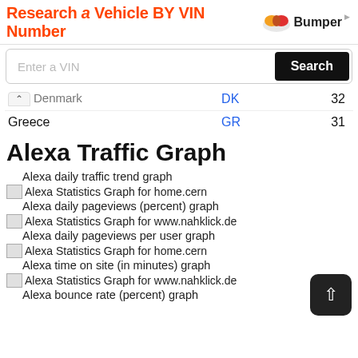[Figure (other): Ad banner: 'Research a Vehicle BY VIN Number' with Bumper logo]
[Figure (other): VIN number search input field with Search button]
| Denmark (partial) | DK | 32 |
| Greece | GR | 31 |
Alexa Traffic Graph
Alexa daily traffic trend graph
[Figure (other): Alexa Statistics Graph for home.cern]
Alexa daily pageviews (percent) graph
[Figure (other): Alexa Statistics Graph for www.nahklick.de]
Alexa daily pageviews per user graph
[Figure (other): Alexa Statistics Graph for home.cern]
Alexa time on site (in minutes) graph
[Figure (other): Alexa Statistics Graph for www.nahklick.de]
Alexa bounce rate (percent) graph